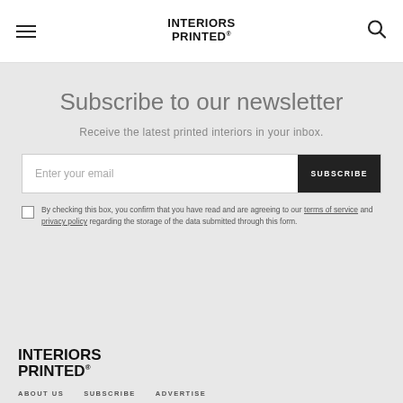INTERIORS PRINTED®
Subscribe to our newsletter
Receive the latest printed interiors in your inbox.
Enter your email | SUBSCRIBE
By checking this box, you confirm that you have read and are agreeing to our terms of service and privacy policy regarding the storage of the data submitted through this form.
INTERIORS PRINTED®
ABOUT US   SUBSCRIBE   ADVERTISE